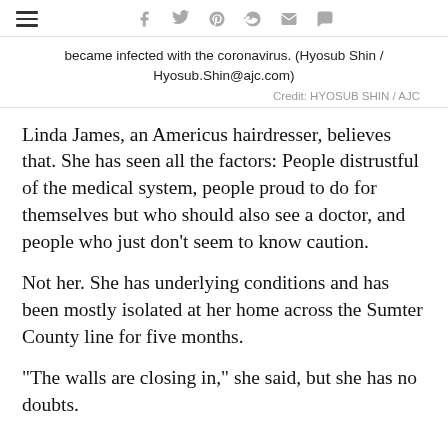≡  f  𝑦  𝑝  𝑟  ✉  💬
became infected with the coronavirus. (Hyosub Shin / Hyosub.Shin@ajc.com)
Credit: HYOSUB SHIN / AJC
Linda James, an Americus hairdresser, believes that. She has seen all the factors: People distrustful of the medical system, people proud to do for themselves but who should also see a doctor, and people who just don't seem to know caution.
Not her. She has underlying conditions and has been mostly isolated at her home across the Sumter County line for five months.
“The walls are closing in,” she said, but she has no doubts.